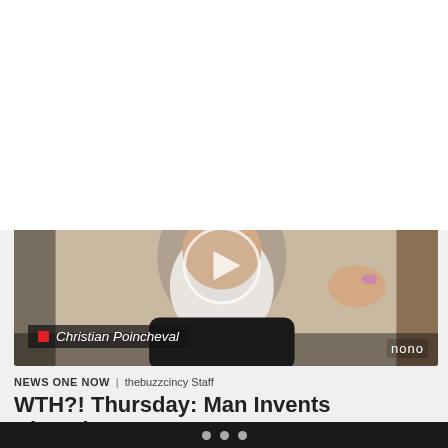WTH... Thursday: Teen Fired For A Tweet; Walmart Takes Home Headbutt [GIF]
It's WTH... Thursday on "NewsOne Now" with Roland Martin. Martin, Danielle Belton and Rudy "DJ Flava" Davis take a look at all of the crazy…
[Figure (screenshot): Video thumbnail showing a white-bearded man holding a small object, with play button overlay and caption bar reading 'Christian Poincheval', NONO watermark in bottom right]
NEWS ONE NOW | thebuzzcincy Staff
WTH?! Thursday: Man Invents Chocolate Smelling…